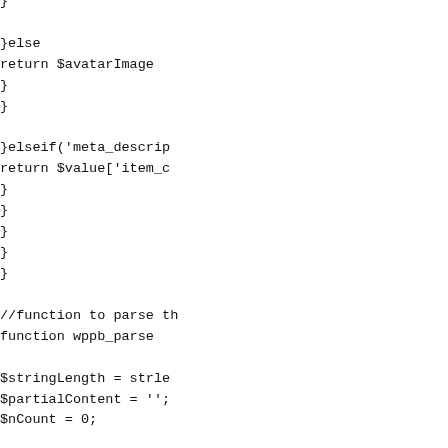}else
return $avatarImage
}
}

}elseif('meta_descrip
return $value['item_c
}
}
}
}
}

//function to parse th
function wppb_parse

$stringLength = strle
$partialContent = '';
$nCount = 0;

while ($nCount < $s
$nCount+2; $tagNar